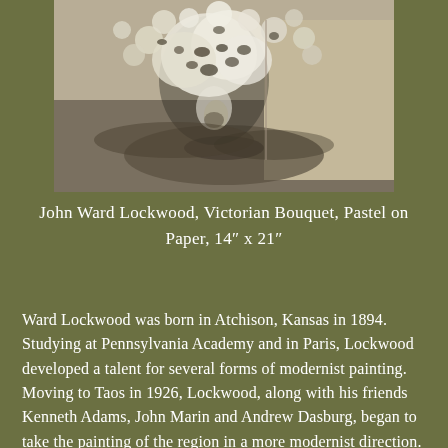[Figure (illustration): A pastel on paper artwork titled 'Victorian Bouquet' by John Ward Lockwood. The image shows a loose, impressionistic arrangement of white and pale flowers with dark leaves against a muted grey-beige background. The style is soft and modernist.]
John Ward Lockwood, Victorian Bouquet, Pastel on Paper, 14" x 21"
Ward Lockwood was born in Atchison, Kansas in 1894. Studying at Pennsylvania Academy and in Paris, Lockwood developed a talent for several forms of modernist painting. Moving to Taos in 1926, Lockwood, along with his friends Kenneth Adams, John Marin and Andrew Dasburg, began to take the painting of the region in a more modernist direction. Lockwood himself painted in